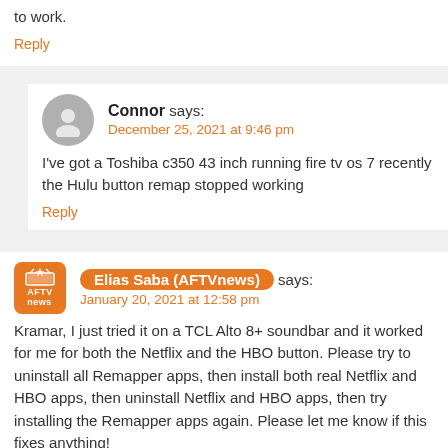to work.
Reply
Connor says:
December 25, 2021 at 9:46 pm
I've got a Toshiba c350 43 inch running fire tv os 7 recently the Hulu button remap stopped working
Reply
Elias Saba (AFTVnews) says:
January 20, 2021 at 12:58 pm
Kramar, I just tried it on a TCL Alto 8+ soundbar and it worked for me for both the Netflix and the HBO button. Please try to uninstall all Remapper apps, then install both real Netflix and HBO apps, then uninstall Netflix and HBO apps, then try installing the Remapper apps again. Please let me know if this fixes anything!
Reply